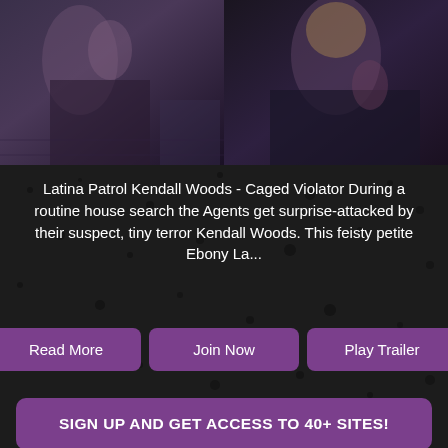[Figure (photo): Two side-by-side photos: left shows a woman in a blue outfit in a room, right shows a woman with curly blonde hair wearing a dark top]
Latina Patrol Kendall Woods - Caged Violator During a routine house search the Agents get surprise-attacked by their suspect, tiny terror Kendall Woods. This feisty petite Ebony La...
Read More
Join Now
Play Trailer
SIGN UP AND GET ACCESS TO 40+ SITES!